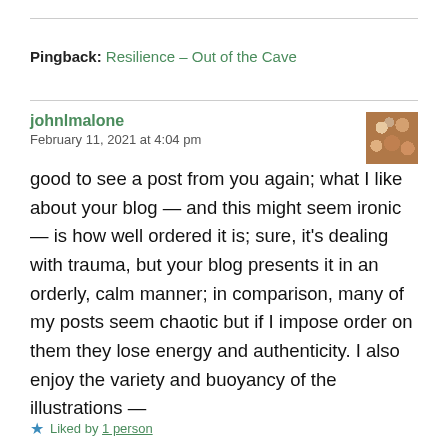Pingback: Resilience – Out of the Cave
johnlmalone
February 11, 2021 at 4:04 pm
good to see a post from you again; what I like about your blog — and this might seem ironic — is how well ordered it is; sure, it's dealing with trauma, but your blog presents it in an orderly, calm manner; in comparison, many of my posts seem chaotic but if I impose order on them they lose energy and authenticity. I also enjoy the variety and buoyancy of the illustrations —
Liked by 1 person